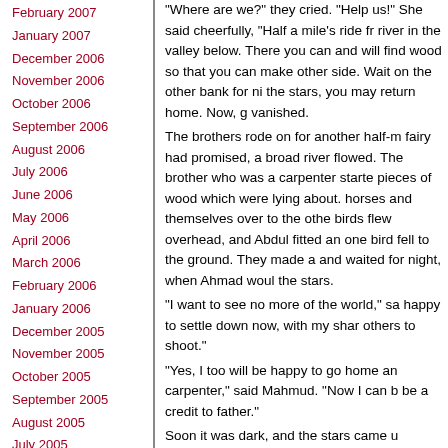February 2007
January 2007
December 2006
November 2006
October 2006
September 2006
August 2006
July 2006
June 2006
May 2006
April 2006
March 2006
February 2006
January 2006
December 2005
November 2005
October 2005
September 2005
August 2005
July 2005
June 2005
“Where are we?” they cried. “Help us!” She said cheerfully, “Half a mile’s ride from the river in the valley below. There you can water and will find wood so that you can make the other side. Wait on the other bank for nine the stars, you may return home. Now, go” vanished.
The brothers rode on for another half-mile fairy had promised, a broad river flowed. The brother who was a carpenter started pieces of wood which were lying about. horses and themselves over to the other birds flew overhead, and Abdul fitted an one bird fell to the ground. They made a and waited for night, when Ahmad would the stars.
“I want to see no more of the world,” sa happy to settle down now, with my share others to shoot.”
“Yes, I too will be happy to go home and carpenter,” said Mahmud. “Now I can b be a credit to father.”
Soon it was dark, and the stars came up direction they should take. They travelled within sight of the town of their birth.